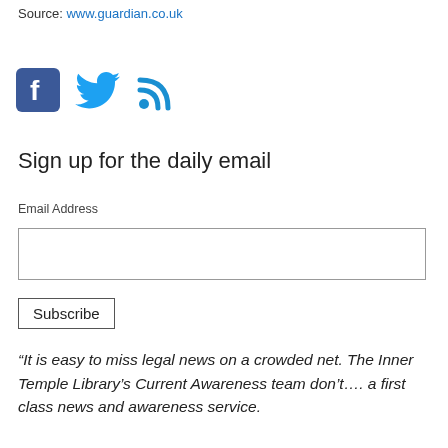Source: www.guardian.co.uk
[Figure (illustration): Social media icons: Facebook (blue square with f), Twitter (blue bird), RSS (blue signal/wifi icon)]
Sign up for the daily email
Email Address
Subscribe
“It is easy to miss legal news on a crowded net. The Inner Temple Library’s Current Awareness team don’t…. a first class news and awareness service.